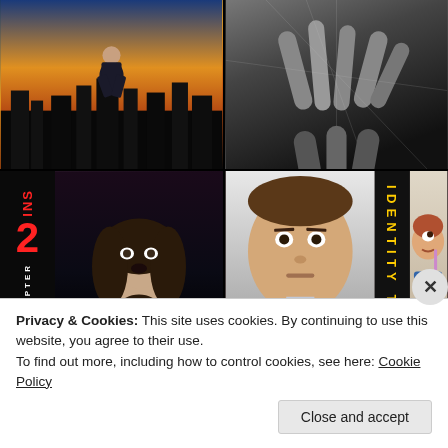[Figure (screenshot): A 2x2 collage of movie posters. Top-left: action movie poster (Divergent style) with a male figure crouching against a cityscape at sunset. Top-right: dark/horror movie poster in black and white showing grasping hands. Bottom-left: Insidious Chapter 2 horror movie poster with red/black title lettering, a woman looking up in fear, and tagline 'It will take what you love most.' Bottom-right: split showing two movie posters - Identity Thief with a man's face and yellow title text, and another comedy film showing a woman drinking from a cup.]
Privacy & Cookies: This site uses cookies. By continuing to use this website, you agree to their use.
To find out more, including how to control cookies, see here: Cookie Policy
Close and accept